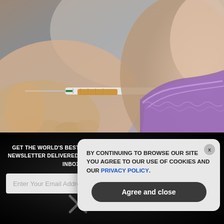[Figure (photo): Close-up photo of a medical professional holding a syringe with amber-colored liquid and green needle tip, about to administer an injection into a person's upper arm. The patient is wearing a purple/lavender lace-trimmed garment. The background is blurred.]
GET THE WORLD'S BEST NATURAL HEALTH NEWSLETTER DELIVERED STRAIGHT TO YOUR INBOX
Enter Your Email Address
SUBSCRIBE
BY CONTINUING TO BROWSE OUR SITE YOU AGREE TO OUR USE OF COOKIES AND OUR PRIVACY POLICY.
Agree and close